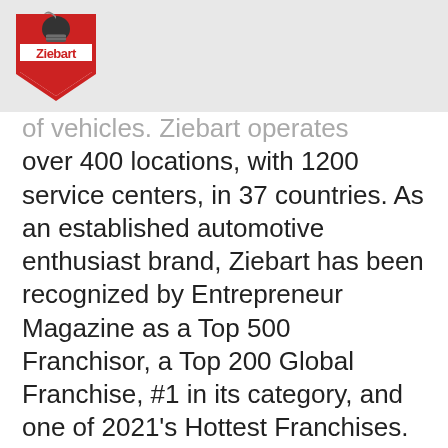Request Info   Schedule Call
[Figure (logo): Ziebart logo — knight helmet on a red and white shield with 'Ziebart' text]
of vehicles. Ziebart operates over 400 locations, with 1200 service centers, in 37 countries. As an established automotive enthusiast brand, Ziebart has been recognized by Entrepreneur Magazine as a Top 500 Franchisor, a Top 200 Global Franchise, #1 in its category, and one of 2021's Hottest Franchises. In addition, Ziebart's corporate headquarters was recently named one of the Top Workplaces by Detroit Free Press.